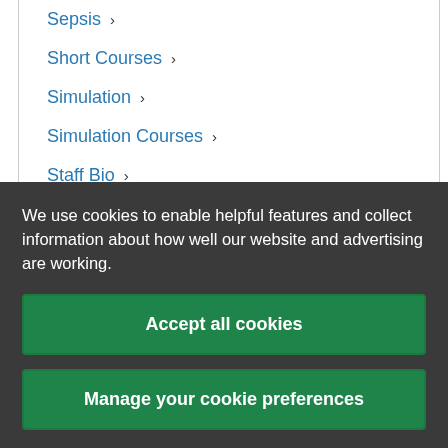Sepsis ›
Short Courses ›
Simulation ›
Simulation Courses ›
Staff Bio ›
The Bill Mapleson Centre ›
Uncategorized ›
We use cookies to enable helpful features and collect information about how well our website and advertising are working.
Accept all cookies
Manage your cookie preferences